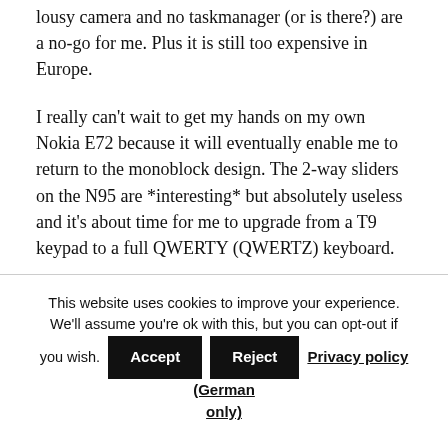lousy camera and no taskmanager (or is there?) are a no-go for me. Plus it is still too expensive in Europe.
I really can't wait to get my hands on my own Nokia E72 because it will eventually enable me to return to the monoblock design. The 2-way sliders on the N95 are *interesting* but absolutely useless and it's about time for me to upgrade from a T9 keypad to a full QWERTY (QWERTZ) keyboard.
This website uses cookies to improve your experience. We'll assume you're ok with this, but you can opt-out if you wish. Accept  Reject  Privacy policy (German only)